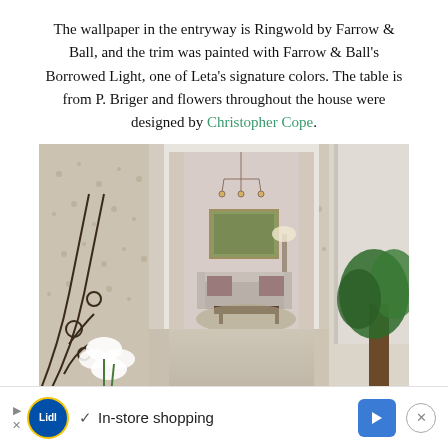The wallpaper in the entryway is Ringwold by Farrow & Ball, and the trim was painted with Farrow & Ball's Borrowed Light, one of Leta's signature colors. The table is from P. Briger and flowers throughout the house were designed by Christopher Cope.
[Figure (photo): Interior hallway/entryway with floral wallpaper (Ringwold by Farrow & Ball), decorative iron staircase railing with white lilies, view through doorway into living room with chandelier, sofa, painting on wall, and a large potted plant on the right side.]
▷ ✓ In-store shopping